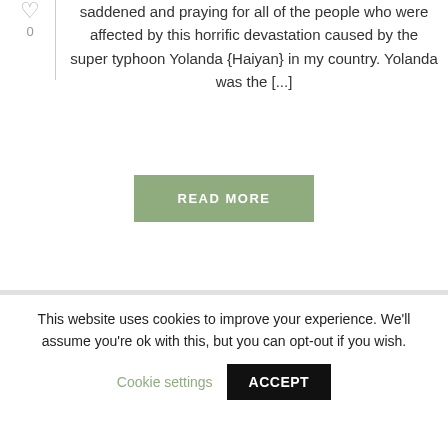saddened and praying for all of the people who were affected by this horrific devastation caused by the super typhoon Yolanda {Haiyan} in my country. Yolanda was the [...]
READ MORE
[Figure (other): Gray banner/image placeholder area]
This website uses cookies to improve your experience. We'll assume you're ok with this, but you can opt-out if you wish.
Cookie settings
ACCEPT